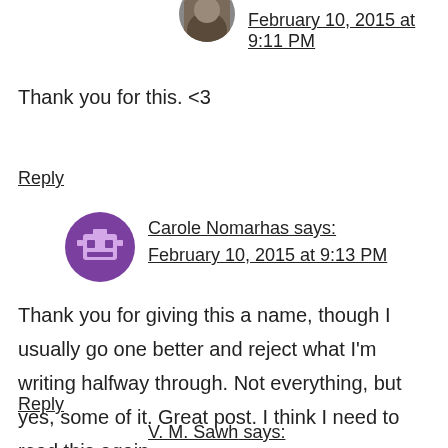[Figure (photo): Circular avatar photo of a person, partially cut at top]
February 10, 2015 at 9:11 PM
Thank you for this. <3
Reply
[Figure (illustration): Circular purple avatar with a pixel-art robot/cat face icon]
Carole Nomarhas says:
February 10, 2015 at 9:13 PM
Thank you for giving this a name, though I usually go one better and reject what I'm writing halfway through. Not everything, but yes, some of it. Great post. I think I need to read this again.
Reply
V. M. Sawh says: